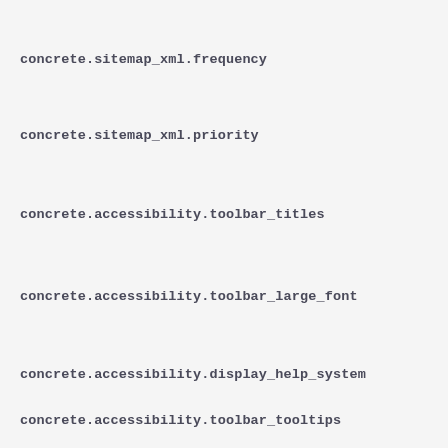concrete.sitemap_xml.frequency
concrete.sitemap_xml.priority
concrete.accessibility.toolbar_titles
concrete.accessibility.toolbar_large_font
concrete.accessibility.display_help_system
concrete.accessibility.toolbar_tooltips